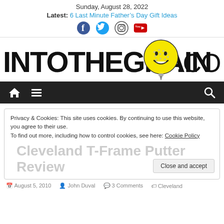Sunday, August 28, 2022
Latest: 6 Last Minute Father's Day Gift Ideas
[Figure (logo): Social media icons: Facebook, Twitter, Instagram, YouTube]
[Figure (logo): IntoTheGrain.com logo with smiley face golf ball on tee]
[Figure (infographic): Navigation bar with home icon, hamburger menu, and search icon on dark background]
Privacy & Cookies: This site uses cookies. By continuing to use this website, you agree to their use.
To find out more, including how to control cookies, see here: Cookie Policy
Cleveland T-Frame Putter Review
August 5, 2010  John Duval  3 Comments  Cleveland